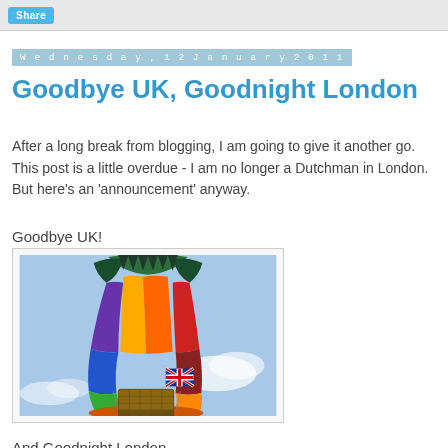Share
Wednesday, 12 January 2011
Goodbye UK, Goodnight London
After a long break from blogging, I am going to give it another go. This post is a little overdue - I am no longer a Dutchman in London. But here's an 'announcement' anyway.
Goodbye UK!
[Figure (photo): Hot air balloon with a Union Jack flag hanging from the basket, viewed from below against a blue cloudy sky. The balloon has colorful panels in red, orange, yellow, green, blue, and purple.]
And Goodnight London